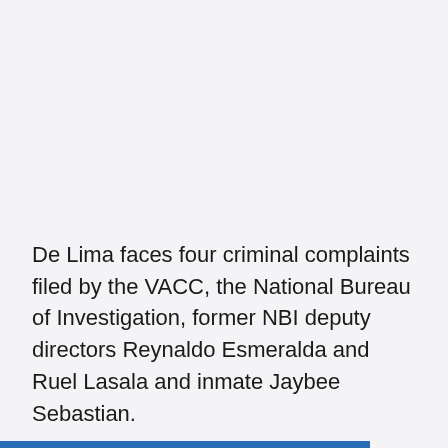De Lima faces four criminal complaints filed by the VACC, the National Bureau of Investigation, former NBI deputy directors Reynaldo Esmeralda and Ruel Lasala and inmate Jaybee Sebastian.